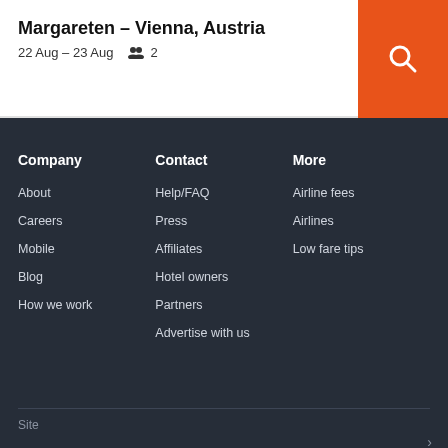Margareten – Vienna, Austria
22 Aug – 23 Aug   2
Company
About
Careers
Mobile
Blog
How we work
Contact
Help/FAQ
Press
Affiliates
Hotel owners
Partners
Advertise with us
More
Airline fees
Airlines
Low fare tips
Site